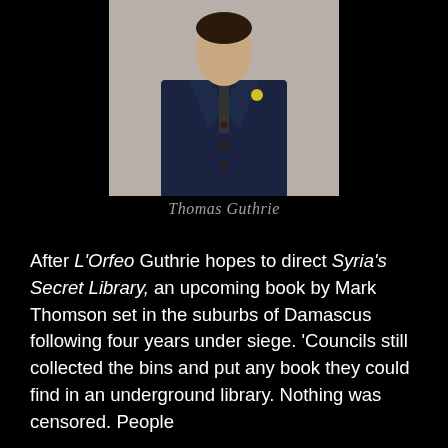[Figure (photo): Portrait photo of Thomas Guthrie, a man in a dark navy blazer with a yellow flower pin, hands in pockets, against a light background]
Thomas Guthrie
After L'Orfeo Guthrie hopes to direct Syria's Secret Library, an upcoming book by Mark Thomson set in the suburbs of Damascus following four years under siege. 'Councils still collected the bins and put any book they could find in an underground library. Nothing was censored. People